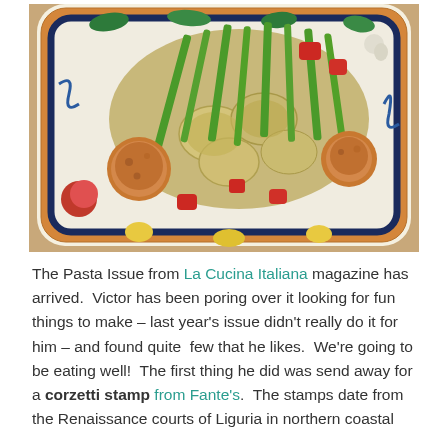[Figure (photo): A decorated Italian ceramic plate with colorful floral and fruit patterns on the border, holding a dish of corzetti pasta with green asparagus, red tomato chunks, and golden-brown fried items.]
The Pasta Issue from La Cucina Italiana magazine has arrived.  Victor has been poring over it looking for fun things to make – last year's issue didn't really do it for him – and found quite  few that he likes.  We're going to be eating well!  The first thing he did was send away for a corzetti stamp from Fante's.  The stamps date from the Renaissance courts of Liguria in northern coastal